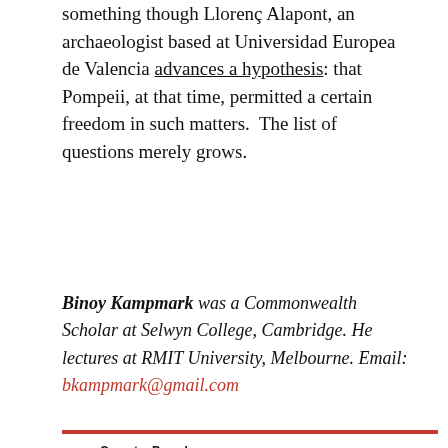something though Llorenç Alapont, an archaeologist based at Universidad Europea de Valencia advances a hypothesis: that Pompeii, at that time, permitted a certain freedom in such matters.  The list of questions merely grows.
Binoy Kampmark was a Commonwealth Scholar at Selwyn College, Cambridge. He lectures at RMIT University, Melbourne. Email: bkampmark@gmail.com
CounterPunch
Tells the Facts and Names the Names
Published since 1996
Copyright © CounterPunch
All rights reserved.
counterpunch@counterpunch.org
Administration
Becky Grant
CEO/Administrator